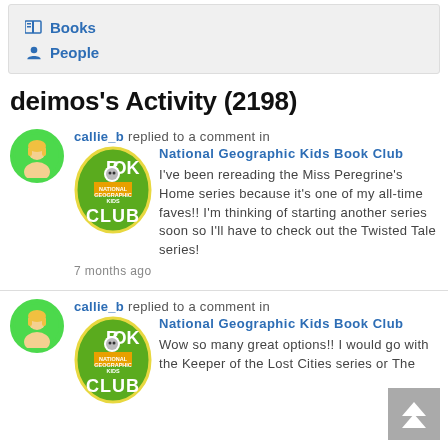Books
People
deimos's Activity (2198)
callie_b replied to a comment in National Geographic Kids Book Club. I've been rereading the Miss Peregrine's Home series because it's one of my all-time faves!! I'm thinking of starting another series soon so I'll have to check out the Twisted Tale series! 7 months ago
callie_b replied to a comment in National Geographic Kids Book Club. Wow so many great options!! I would go with the Keeper of the Lost Cities series or The